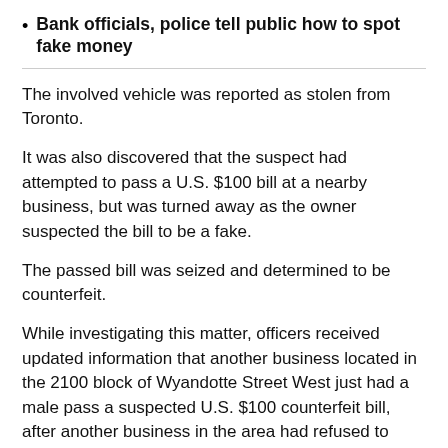Bank officials, police tell public how to spot fake money
The involved vehicle was reported as stolen from Toronto.
It was also discovered that the suspect had attempted to pass a U.S. $100 bill at a nearby business, but was turned away as the owner suspected the bill to be a fake.
The passed bill was seized and determined to be counterfeit.
While investigating this matter, officers received updated information that another business located in the 2100 block of Wyandotte Street West just had a male pass a suspected U.S. $100 counterfeit bill, after another business in the area had refused to accept the bill.
As officers were investigating the second complaint, they spotted the suspect, walking south on Randolph Street